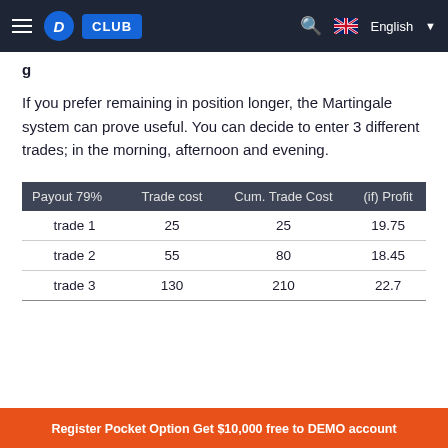≡  D CLUB   🔍  🇬🇧 English ▼
If you prefer remaining in position longer, the Martingale system can prove useful. You can decide to enter 3 different trades; in the morning, afternoon and evening.
| Payout 79% | Trade cost | Cum. Trade Cost | (if) Profit |
| --- | --- | --- | --- |
| trade 1 | 25 | 25 | 19.75 |
| trade 2 | 55 | 80 | 18.45 |
| trade 3 | 130 | 210 | 22.7 |
Register Pocket Option Get $10,000 free to DEMO account